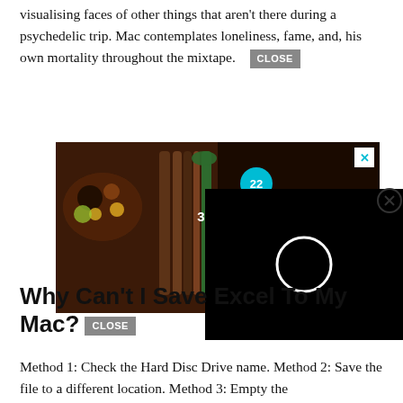visualising faces of other things that aren't there during a psychedelic trip. Mac contemplates loneliness, fame, and, his own mortality throughout the mixtape. CLOSE
[Figure (screenshot): Advertisement banner showing food items on dark background with text '37 ITEMS PEOPLE LOVE TO PUT ON AMA' and a teal badge with '22'. An X close button appears in the top right.]
[Figure (screenshot): Video player overlay on black background showing a loading circle spinner. A close button (circled X) appears at the top right.]
Why Can't I Save Excel To My Mac?
Method 1: Check the Hard Disc Drive name. Method 2: Save the file to a different location. Method 3: Empty the